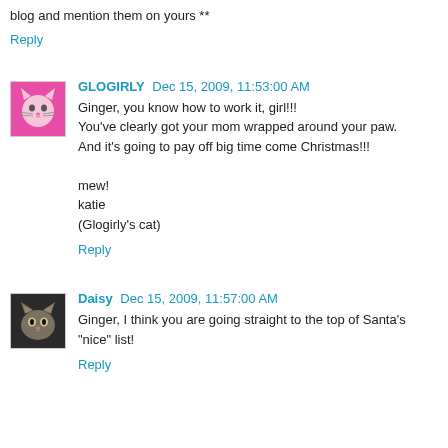blog and mention them on yours **
Reply
GLOGIRLY Dec 15, 2009, 11:53:00 AM
Ginger, you know how to work it, girl!!!
You've clearly got your mom wrapped around your paw.
And it's going to pay off big time come Christmas!!!

mew!
katie
(Glogirly's cat)
Reply
Daisy Dec 15, 2009, 11:57:00 AM
Ginger, I think you are going straight to the top of Santa's "nice" list!
Reply